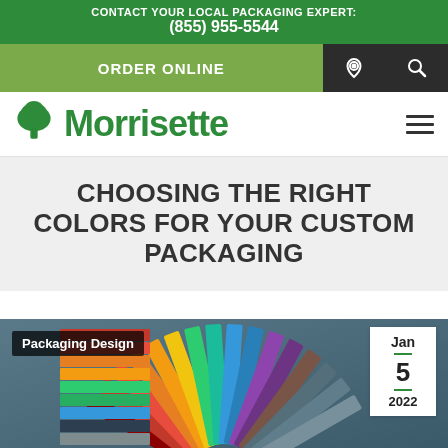CONTACT YOUR LOCAL PACKAGING EXPERT: (855) 955-5544
ORDER ONLINE
[Figure (logo): Morrisette logo with green tree icon and green text]
CHOOSING THE RIGHT COLORS FOR YOUR CUSTOM PACKAGING
[Figure (photo): Color swatchbook fan of paint/color samples fanned out, with a Packaging Design label tag and a date badge showing Jan 5 2022]